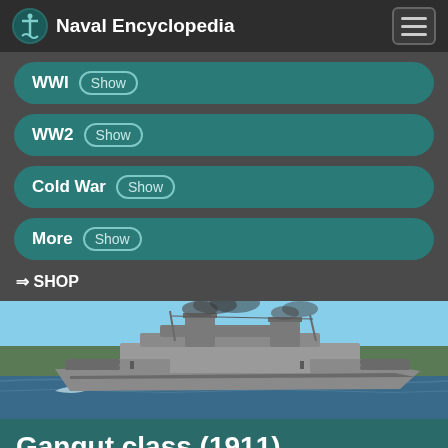Naval Encyclopedia
WWI Show
WW2 Show
Cold War Show
More Show
⇒ SHOP
[Figure (photo): A WWI-era battleship underway at sea, with smoke coming from its funnels, sailing on blue water with a coastline in the background.]
Gangut class (1911)
Petropavlovsk, Sevastopol, Poltava...